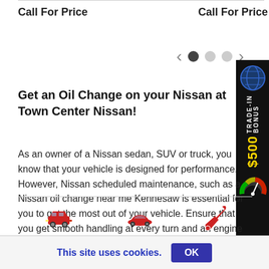Call For Price
Call For Price
[Figure (other): Carousel navigation with left arrow, three dots (one active dark, two inactive gray), and right arrow]
[Figure (other): $500 Trade-In Bonus side banner with globe icon, vertical text, and gauge graphic]
Get an Oil Change on your Nissan at Town Center Nissan!
As an owner of a Nissan sedan, SUV or truck, you know that your vehicle is designed for performance. However, Nissan scheduled maintenance, such as a Nissan oil change near me Kennesaw is essential for you to get the most out of your vehicle. Ensure that you get smooth handling at every turn and an engine ready for
[Figure (other): Bottom icons: red car icon, red sedan icon, red wrench icon]
This site uses cookies.
OK